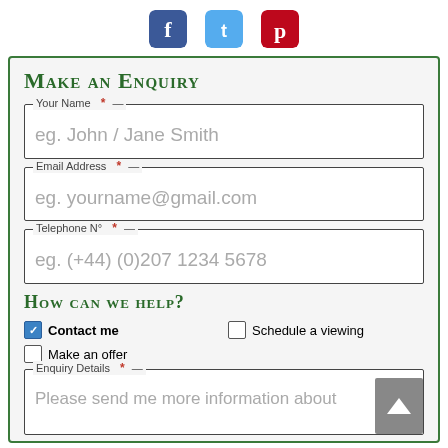[Figure (illustration): Social media icons: Facebook (blue), Twitter (light blue), Pinterest (red)]
Make an Enquiry
Your Name * (field label), placeholder: eg. John / Jane Smith
Email Address * (field label), placeholder: eg. yourname@gmail.com
Telephone N° * (field label), placeholder: eg. (+44) (0)207 1234 5678
How can we help?
Contact me (checked)
Schedule a viewing (unchecked)
Make an offer (unchecked)
Enquiry Details * (field label), placeholder: Please send me more information about